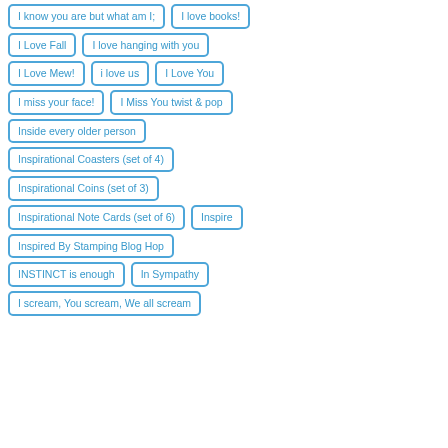I know you are but what am I;
I love books!
I Love Fall
I love hanging with you
I Love Mew!
i love us
I Love You
I miss your face!
I Miss You twist & pop
Inside every older person
Inspirational Coasters (set of 4)
Inspirational Coins (set of 3)
Inspirational Note Cards (set of 6)
Inspire
Inspired By Stamping Blog Hop
INSTINCT is enough
In Sympathy
I scream, You scream, We all scream